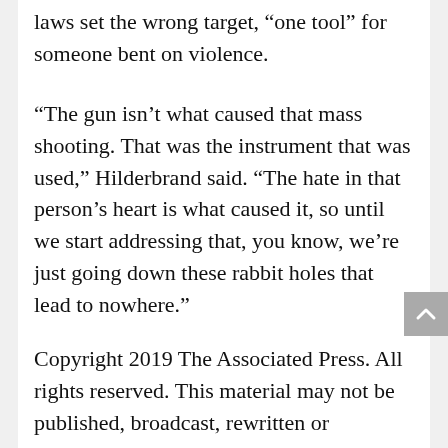laws set the wrong target, “one tool” for someone bent on violence.
“The gun isn’t what caused that mass shooting. That was the instrument that was used,” Hilderbrand said. “The hate in that person’s heart is what caused it, so until we start addressing that, you know, we’re just going down these rabbit holes that lead to nowhere.”
Copyright 2019 The Associated Press. All rights reserved. This material may not be published, broadcast, rewritten or redistributed.